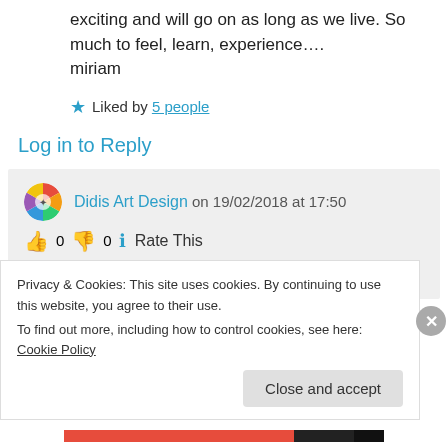exciting and will go on as long as we live. So much to feel, learn, experience…. miriam
★ Liked by 5 people
Log in to Reply
Didis Art Design on 19/02/2018 at 17:50
👍 0 👎 0 ℹ Rate This
Thanks, dear Miriam 🙂
Privacy & Cookies: This site uses cookies. By continuing to use this website, you agree to their use. To find out more, including how to control cookies, see here: Cookie Policy
Close and accept